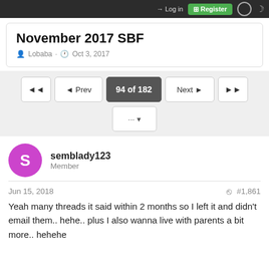Log in | Register
November 2017 SBF
Lobaba · Oct 3, 2017
◄◄  ◄ Prev  94 of 182  Next ►  ►► ... ▼
semblady123
Member
Jun 15, 2018  #1,861
Yeah many threads it said within 2 months so I left it and didn't email them.. hehe.. plus I also wanna live with parents a bit more.. hehehe